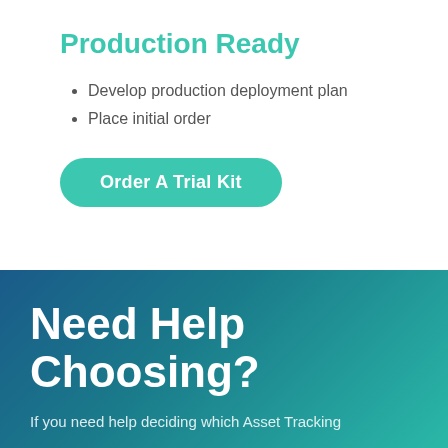Production Ready
Develop production deployment plan
Place initial order
Order A Trial Kit
Need Help Choosing?
If you need help deciding which Asset Tracking